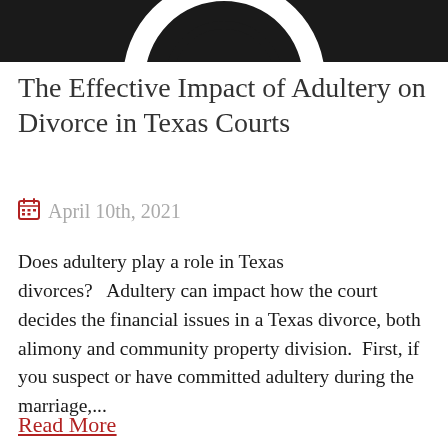[Figure (photo): Black and white image partially visible at the top of the page, showing a circular/ring-like shape against a dark background.]
The Effective Impact of Adultery on Divorce in Texas Courts
April 10th, 2021
Does adultery play a role in Texas divorces?   Adultery can impact how the court decides the financial issues in a Texas divorce, both alimony and community property division.  First, if you suspect or have committed adultery during the marriage,...
Read More